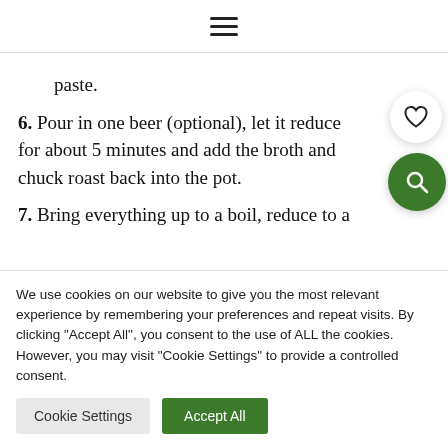≡
paste.
6. Pour in one beer (optional), let it reduce for about 5 minutes and add the broth and chuck roast back into the pot.
7. Bring everything up to a boil, reduce to a
We use cookies on our website to give you the most relevant experience by remembering your preferences and repeat visits. By clicking "Accept All", you consent to the use of ALL the cookies. However, you may visit "Cookie Settings" to provide a controlled consent.